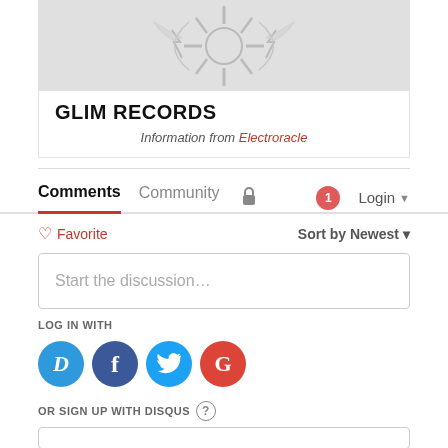[Figure (logo): Glim Records logo — gray tribal/abstract design on light gray background]
GLIM RECORDS
Information from Electroracle
Comments   Community   🔒   1   Login
♡ Favorite   Sort by Newest
Start the discussion…
LOG IN WITH
[Figure (logo): Social login icons: Disqus (D), Facebook (f), Twitter bird, Google (G)]
OR SIGN UP WITH DISQUS ?